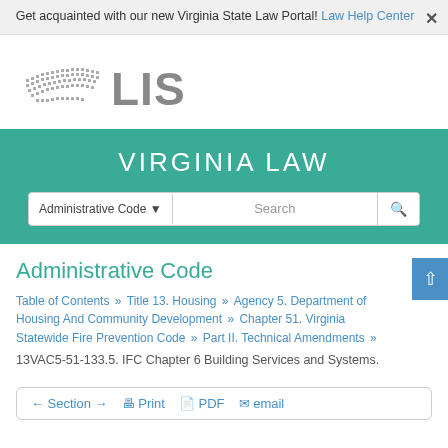Get acquainted with our new Virginia State Law Portal! Law Help Center ×
[Figure (logo): LIS Virginia Legislative Information System logo — stylized Virginia state outline made of dots in gray, followed by large gray text 'LIS']
VIRGINIA LAW
Administrative Code ▼  Search 🔍
Administrative Code
Table of Contents » Title 13. Housing » Agency 5. Department of Housing And Community Development » Chapter 51. Virginia Statewide Fire Prevention Code » Part II. Technical Amendments »
13VAC5-51-133.5. IFC Chapter 6 Building Services and Systems.
← Section → 🖨 Print 📄 PDF ✉ email